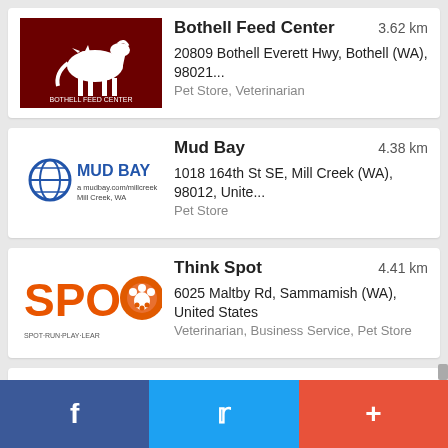[Figure (other): Bothell Feed Center logo - dark red background with white horse and rooster silhouette]
Bothell Feed Center
3.62 km
20809 Bothell Everett Hwy, Bothell (WA), 98021...
Pet Store, Veterinarian
[Figure (logo): Mud Bay logo - blue circular icon with MUD BAY text, Mill Creek WA]
Mud Bay
4.38 km
1018 164th St SE, Mill Creek (WA), 98012, Unite...
Pet Store
[Figure (logo): Think Spot / SPOT RUN PLAY LEARN logo - orange letters with paw print]
Think Spot
4.41 km
6025 Maltby Rd, Sammamish (WA), United States
Veterinarian, Business Service, Pet Store
[Figure (logo): Paddywack logo - brown bone shape with cursive Paddywack text]
Paddywack
5.12 km
15407 Main St, Ste 101, Mill Creek (WA), 98012,...
Pet Store, Veterinarian